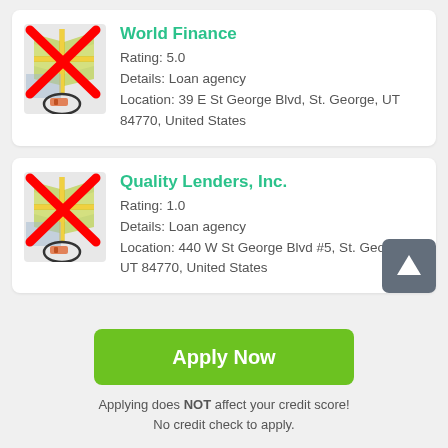[Figure (other): Map pin icon with red X overlay and circled pencil, for World Finance listing]
World Finance
Rating: 5.0
Details: Loan agency
Location: 39 E St George Blvd, St. George, UT 84770, United States
[Figure (other): Map pin icon with red X overlay and circled pencil, for Quality Lenders listing]
Quality Lenders, Inc.
Rating: 1.0
Details: Loan agency
Location: 440 W St George Blvd #5, St. George, UT 84770, United States
Apply Now
Applying does NOT affect your credit score!
No credit check to apply.